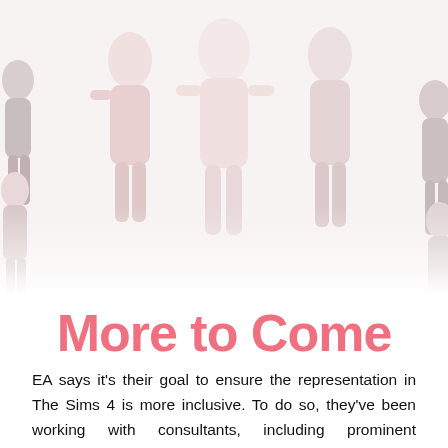[Figure (illustration): Background illustration of Sims 4 characters in soft pink and grey tones, occupying the top portion of the page]
More to Come
EA says it's their goal to ensure the representation in The Sims 4 is more inclusive. To do so, they've been working with consultants, including prominent community members like Game Changers Mia Zaff, EbonixSims, Rao, Xmiramira, and CatherineGames. They've